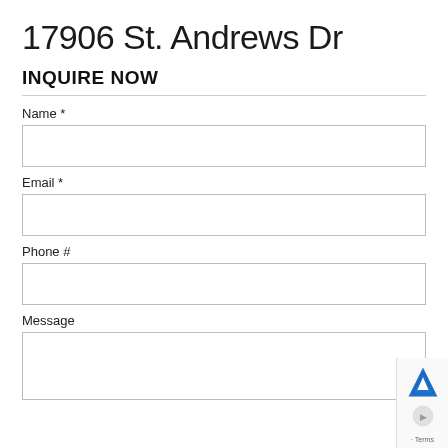17906 St. Andrews Dr
INQUIRE NOW
Name *
Email *
Phone #
Message